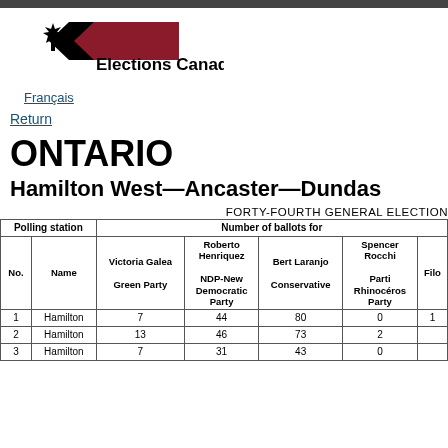[Figure (logo): Elections Canada logo with maple leaf and arrow graphic]
Français
Return
ONTARIO
Hamilton West—Ancaster—Dundas
FORTY-FOURTH GENERAL ELECTION
| No. | Name | Victoria Galea Green Party | Roberto Henriquez NDP-New Democratic Party | Bert Laranjo Conservative | Spencer Rocchi Parti Rhinocéros Party | Filo... |
| --- | --- | --- | --- | --- | --- | --- |
| 1 | Hamilton | 7 | 44 | 80 | 0 | 1 |
| 2 | Hamilton | 13 | 46 | 73 | 2 |  |
| 3 | Hamilton | 7 | 31 | 43 | 0 |  |